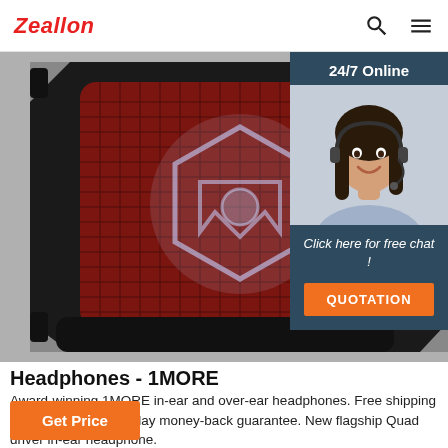Zeallon
[Figure (photo): Close-up photo of a black and red Bluetooth speaker with hexagonal mesh grille and illuminated logo, alongside a customer service chat widget showing a smiling woman with headset, '24/7 Online' text, 'Click here for free chat!' and a QUOTATION button]
Headphones - 1MORE
Award-winning 1MORE in-ear and over-ear headphones. Free shipping on all orders and 30-day money-back guarantee. New flagship Quad driver in-ear headphone.
Get Price